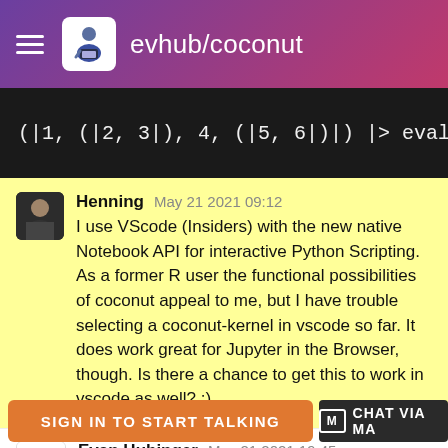evhub/coconut
[Figure (screenshot): Code block showing: (|1, (|2, 3|), 4, (|5, 6|)|) |> eval_]
Henning  May 21 2021 09:12
I use VScode (Insiders) with the new native Notebook API for interactive Python Scripting. As a former R user the functional possibilities of coconut appeal to me, but I have trouble selecting a coconut-kernel in vscode so far. It does work great for Jupyter in the Browser, though. Is there a chance to get this to work in vscode as well? :)
Evan Hubinger  May 21 2021 19:45
@henningsway Theoretically, VSCode supports TextMate syntax highlighting, which already exists for
SIGN IN TO START TALKING
CHAT VIA MA